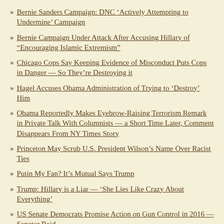Bernie Sanders Campaign: DNC ‘Actively Attempting to Undermine’ Campaign
Bernie Campaign Under Attack After Accusing Hillary of “Encouraging Islamic Extremism”
Chicago Cops Say Keeping Evidence of Misconduct Puts Cops in Danger — So They’re Destroying it
Hagel Accuses Obama Administration of Trying to ‘Destroy’ Him
Obama Reportedly Makes Eyebrow-Raising Terrorism Remark in Private Talk With Columnists — a Short Time Later, Comment Disappears From NY Times Story
Princeton May Scrub U.S. President Wilson’s Name Over Racist Ties
Putin My Fan? It’s Mutual Says Trump
Trump: Hillary is a Liar — ‘She Lies Like Crazy About Everything’
US Senate Democrats Promise Action on Gun Control in 2016 — Senator Reid
Veiled Threat: US Press Wakes Up to Saudi Terror Sponsorship
Canada